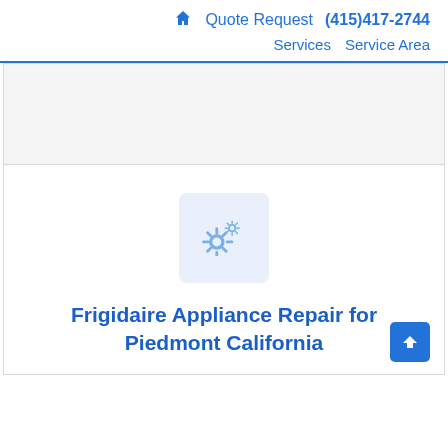🏠 Quote Request (415)417-2744 Services Service Area
[Figure (illustration): Light gray/white rectangular placeholder image area at the top of the content section]
[Figure (illustration): Two gear icons (settings/repair symbols) on a light blue-gray rounded square background]
Frigidaire Appliance Repair for Piedmont California